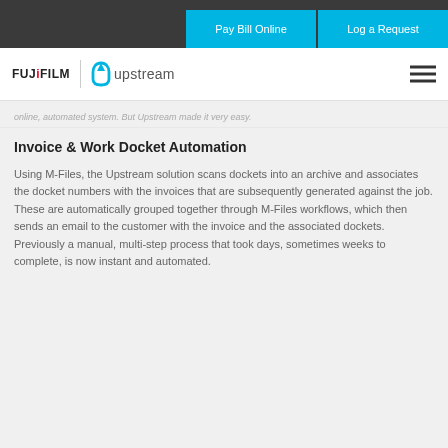Pay Bill Online  |  Log a Request
[Figure (logo): Fujifilm and Upstream logos with hamburger menu]
online, automated system. But Upstream made it very easy.
Invoice & Work Docket Automation
Using M-Files, the Upstream solution scans dockets into an archive and associates the docket numbers with the invoices that are subsequently generated against the job. These are automatically grouped together through M-Files workflows, which then sends an email to the customer with the invoice and the associated dockets. Previously a manual, multi-step process that took days, sometimes weeks to complete, is now instant and automated.